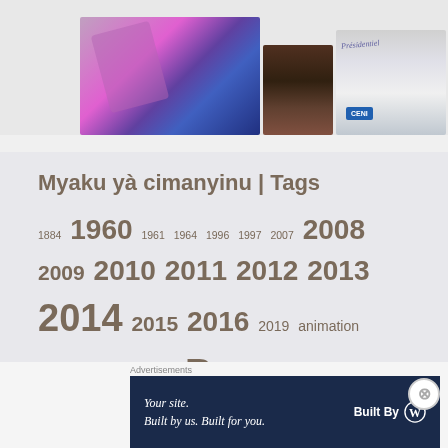[Figure (photo): Three photographs in a horizontal strip: left is a colorful pink/purple fabric or clothing photo, center is a dark patterned textile, right is a sign reading 'PRESIDENTIEL' with a CENI logo on white/blue background]
Myaku yà cimanyinu | Tags
1884 1960 1961 1964 1996 1997 2007 2008 2009 2010 2011 2012 2013 2014 2015 2016 2019 animation assassinat basketball Beena Kàsaayì Belgique Belgium bilan ChAN children Cilubà colonisation concert congo conjugaison conjugation conte Dikembe Mutombo Discography DRCongo décès ebola English
Advertisements
[Figure (other): WordPress advertisement banner: 'Your site. Built by us. Built for you.' with Built By WordPress logo on dark navy background]